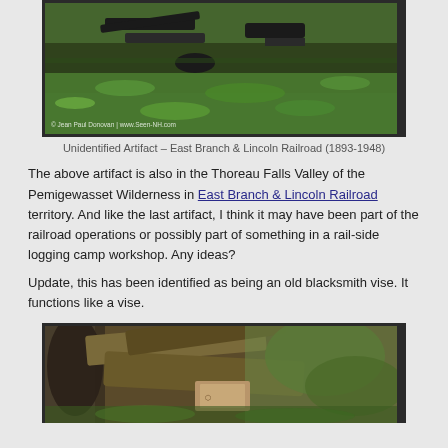[Figure (photo): Photograph of an unidentified metal artifact lying among green plants and leaves on the ground, in the Thoreau Falls Valley area of the Pemigewasset Wilderness. Photo credit: Jean Paul Donovan / www.Seen-NH.com]
Unidentified Artifact – East Branch & Lincoln Railroad (1893-1948)
The above artifact is also in the Thoreau Falls Valley of the Pemigewasset Wilderness in East Branch & Lincoln Railroad territory. And like the last artifact, I think it may have been part of the railroad operations or possibly part of something in a rail-side logging camp workshop. Any ideas?
Update, this has been identified as being an old blacksmith vise. It functions like a vise.
[Figure (photo): Photograph of logs and wooden debris near tree trunks on a forest floor, with what appears to be a small rectangular marker or tag visible among the wood.]